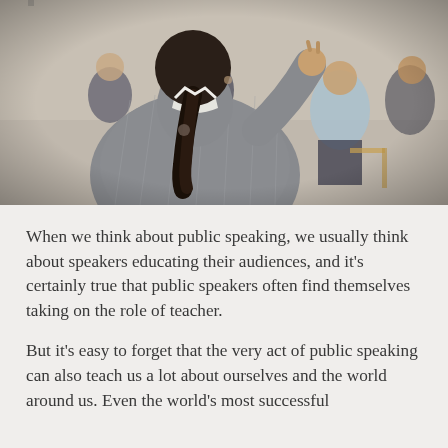[Figure (photo): A woman in a grey pinstripe suit with dark hair in a ponytail, seen from behind, gesturing with her right hand raised toward an audience of business professionals seated in a room. The audience includes men and women in business attire.]
When we think about public speaking, we usually think about speakers educating their audiences, and it's certainly true that public speakers often find themselves taking on the role of teacher.
But it's easy to forget that the very act of public speaking can also teach us a lot about ourselves and the world around us. Even the world's most successful